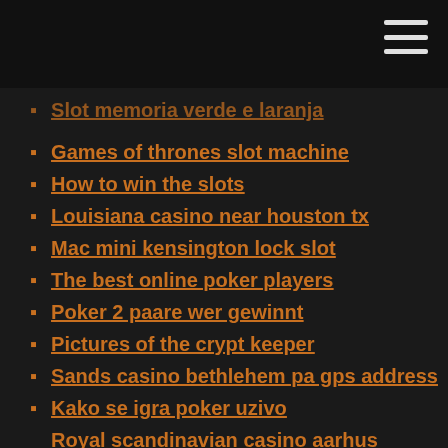Slot memoria verde e laranja
Games of thrones slot machine
How to win the slots
Louisiana casino near houston tx
Mac mini kensington lock slot
The best online poker players
Poker 2 paare wer gewinnt
Pictures of the crypt keeper
Sands casino bethlehem pa gps address
Kako se igra poker uzivo
Royal scandinavian casino aarhus aarhus c
Best online casino pakistan
Wheel of fortune online new toss up music
Best online casino for us and ios